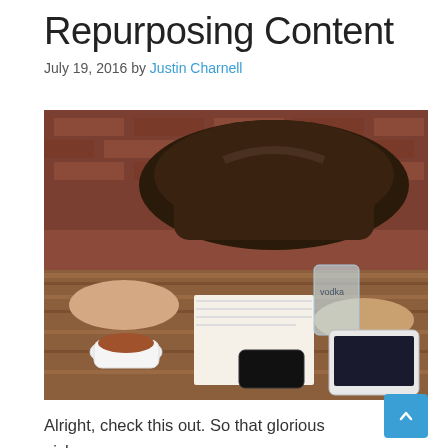Repurposing Content
July 19, 2016 by Justin Charnell
[Figure (photo): Two people sitting at a wooden table with a leather bag, notebook, coffee cup, smartphone, vodka glass, and tablet on the table.]
Alright, check this out. So that glorious niche we I've been talking about the last few weeks, I'm